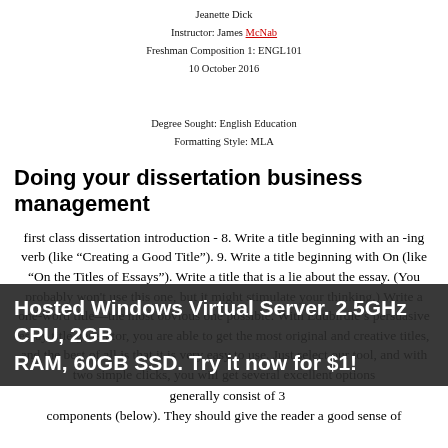Jeanette Dick
Instructor: James McNab
Freshman Composition 1: ENGL101
10 October 2016
Degree Sought: English Education
Formatting Style: MLA
Doing your dissertation business management
first class dissertation introduction - 8. Write a title beginning with an -ing verb (like “Creating a Good Title”). 9. Write a title beginning with On (like “On the Titles of Essays”). Write a title that is a lie about the essay. (You probably won't use this one, but it might stimulate your thinking.) Write a one-word title—the most obvious one possible. With Edubirdie’s persuasive essay title generator, you are able to get the most original and creative titles, and the best of all is that it is very easy to use. Just select our tool, and with two simple clicks, you will get several excellent options
Hosted Windows Virtual Server. 2.5GHz CPU, 2GB RAM, 60GB SSD. Try it now for $1!
components (below). They should give the reader a good sense of